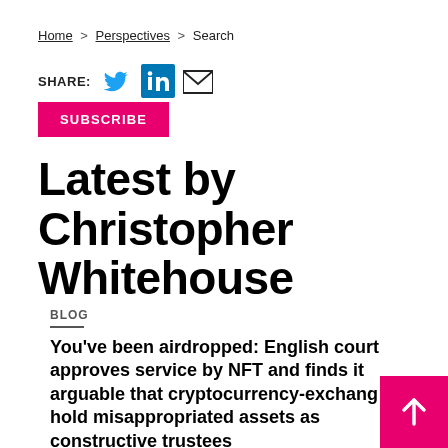Home > Perspectives > Search
SHARE: [Twitter] [LinkedIn] [Email]
SUBSCRIBE
Latest by Christopher Whitehouse
BLOG
You've been airdropped: English court approves service by NFT and finds it arguable that cryptocurrency-exchange hold misappropriated assets as constructive trustees